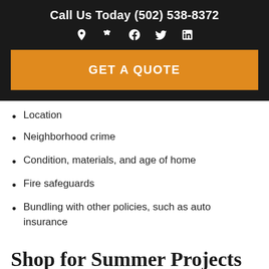Call Us Today (502) 538-8372
[Figure (infographic): Social media icons: location pin, Yelp, Facebook, Twitter, LinkedIn — white icons on dark background]
GET A QUOTE
Location
Neighborhood crime
Condition, materials, and age of home
Fire safeguards
Bundling with other policies, such as auto insurance
Shop for Summer Projects at